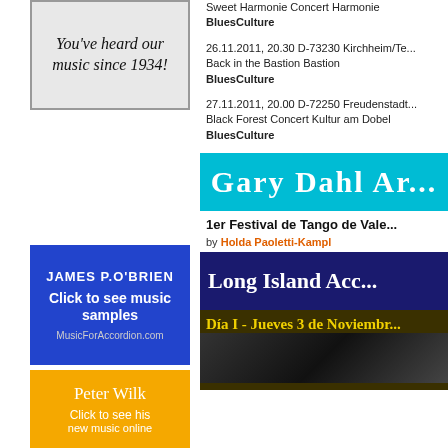[Figure (illustration): Ad with cursive text: You've heard our music since 1934!]
[Figure (illustration): Blue ad for James P.O'Brien - Click to see music samples - MusicForAccordion.com]
[Figure (illustration): Orange ad for Peter Wilk - Click to see his new music online]
Sweet Harmonie Concert Harmonie BluesCulture
26.11.2011, 20.30 D-73230 Kirchheim/Te... Back in the Bastion Bastion BluesCulture
27.11.2011, 20.00 D-72250 Freudenstadt... Black Forest Concert Kultur am Dobel BluesCulture
[Figure (illustration): Cyan banner reading: Gary Dahl Ar...]
1er Festival de Tango de Vale...
by Holda Paoletti-Kampl
[Figure (illustration): Dark blue banner reading: Long Island Acc...]
[Figure (illustration): Dark banner: Día I - Jueves 3 de Noviembr... with musicians photo]